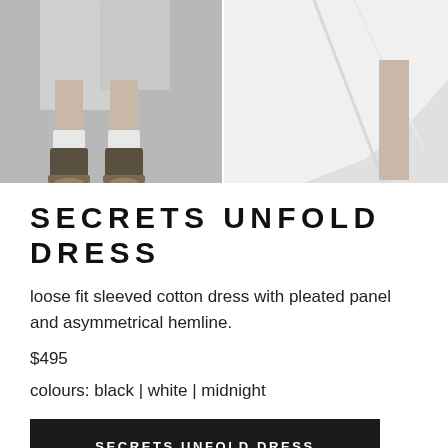[Figure (photo): Two fashion photos side by side showing lower half of model wearing a white cotton dress with ankle boots on the left, and a close-up of the white asymmetrical hemline on the right]
SECRETS UNFOLD DRESS
loose fit sleeved cotton dress with pleated panel and asymmetrical hemline.
$495
colours: black | white | midnight
SECRETS UNFOLD DRESS